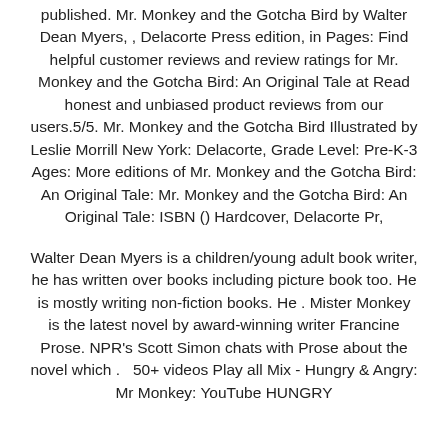published. Mr. Monkey and the Gotcha Bird by Walter Dean Myers, , Delacorte Press edition, in Pages: Find helpful customer reviews and review ratings for Mr. Monkey and the Gotcha Bird: An Original Tale at Read honest and unbiased product reviews from our users.5/5. Mr. Monkey and the Gotcha Bird Illustrated by Leslie Morrill New York: Delacorte, Grade Level: Pre-K-3 Ages: More editions of Mr. Monkey and the Gotcha Bird: An Original Tale: Mr. Monkey and the Gotcha Bird: An Original Tale: ISBN () Hardcover, Delacorte Pr,
Walter Dean Myers is a children/young adult book writer, he has written over books including picture book too. He is mostly writing non-fiction books. He . Mister Monkey is the latest novel by award-winning writer Francine Prose. NPR's Scott Simon chats with Prose about the novel which .  50+ videos Play all Mix - Hungry & Angry: Mr Monkey: YouTube HUNGRY